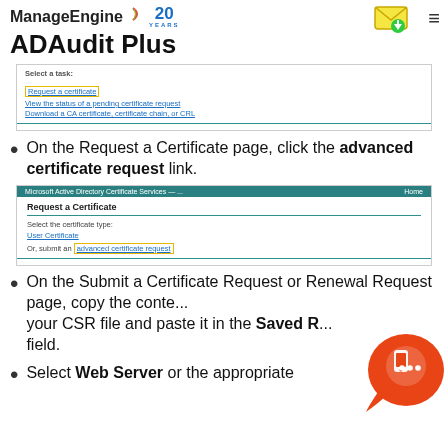ManageEngine 20 YEARS — ADAudit Plus
[Figure (screenshot): Microsoft Active Directory Certificate Services screenshot showing 'Select a task' with links: Request a certificate (highlighted), View the status of a pending certificate request, Download a CA certificate, certificate chain, or CRL]
On the Request a Certificate page, click the advanced certificate request link.
[Figure (screenshot): Microsoft Active Directory Certificate Services screenshot showing 'Request a Certificate' page with 'Select the certificate type: User Certificate' and 'Or, submit an advanced certificate request' (highlighted)]
On the Submit a Certificate Request or Renewal Request page, copy the conte... your CSR file and paste it in the Saved R... field.
Select Web Server or the appropriate